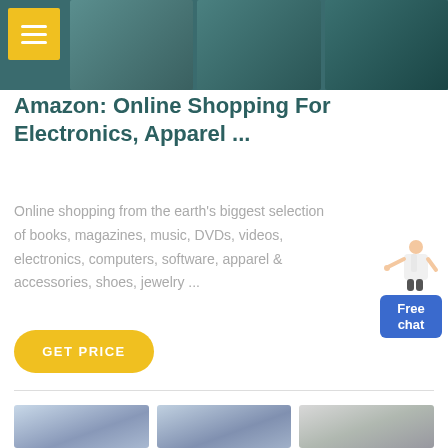[Figure (screenshot): Top banner with dark teal background showing three product/landscape images side by side, with a yellow hamburger menu button in the top-left corner]
Amazon: Online Shopping For Electronics, Apparel ...
Online shopping from the earth's biggest selection of books, magazines, music, DVDs, videos, electronics, computers, software, apparel & accessories, shoes, jewelry ...
[Figure (illustration): Free chat widget: small illustration of a woman in white shirt pointing, with a blue rounded button labeled 'Free chat']
[Figure (other): Yellow rounded GET PRICE button]
[Figure (photo): Three product photos at the bottom showing industrial equipment (snow-covered machinery and industrial dust collectors)]